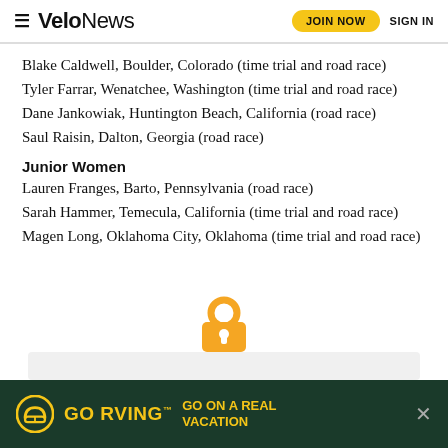VeloNews | JOIN NOW | SIGN IN
Blake Caldwell, Boulder, Colorado (time trial and road race)
Tyler Farrar, Wenatchee, Washington (time trial and road race)
Dane Jankowiak, Huntington Beach, California (road race)
Saul Raisin, Dalton, Georgia (road race)
Junior Women
Lauren Franges, Barto, Pennsylvania (road race)
Sarah Hammer, Temecula, California (time trial and road race)
Magen Long, Oklahoma City, Oklahoma (time trial and road race)
[Figure (illustration): Padlock icon indicating locked/paywall content]
GO RVING™ — GO ON A REAL VACATION (advertisement banner)